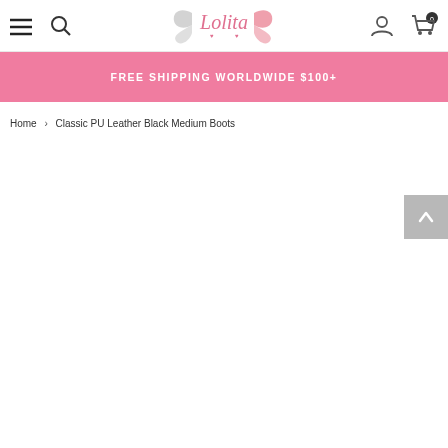[Figure (logo): Lolita Wings logo - pink and grey script with butterfly wings]
[Figure (other): Hamburger menu icon, search icon, user account icon, cart icon with 0 count]
FREE SHIPPING WORLDWIDE $100+
Home > Classic PU Leather Black Medium Boots
[Figure (other): Back to top arrow button]